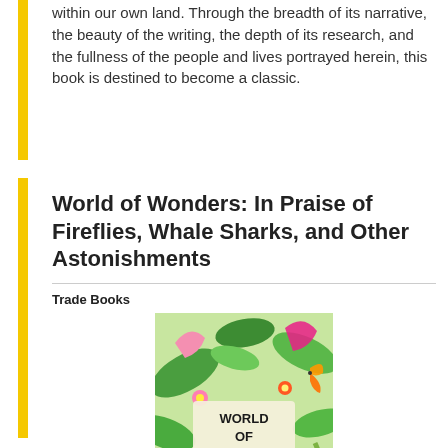within our own land. Through the breadth of its narrative, the beauty of the writing, the depth of its research, and the fullness of the people and lives portrayed herein, this book is destined to become a classic.
World of Wonders: In Praise of Fireflies, Whale Sharks, and Other Astonishments
Trade Books
[Figure (illustration): Book cover of 'World of Wonders: In Praise of Fireflies, Whale Sharks, and Other Astonishments' showing colorful illustrated animals and plants with text overlay]